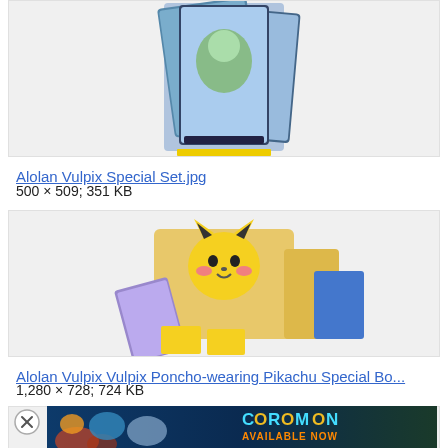[Figure (photo): Partial view of Pokemon trading cards image (top portion visible)]
Alolan Vulpix Special Set.jpg
500 × 509; 351 KB
[Figure (photo): Pokemon special box set with Pikachu and trading cards spread out]
Alolan Vulpix Vulpix Poncho-wearing Pikachu Special Bo...
1,280 × 728; 724 KB
[Figure (photo): Advertisement banner for Coromon game - Available Now, with underwater themed creatures]